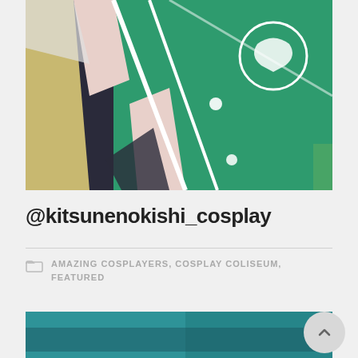[Figure (photo): Close-up photo of a cosplay costume featuring green and black fabric with white trim/piping, white circular logo/emblem in upper right, white buttons, and pink/light colored panels. A tan/yellow background is partially visible.]
@kitsunenokishi_cosplay
AMAZING COSPLAYERS, COSPLAY COLISEUM, FEATURED
[Figure (photo): Partially visible photo at bottom of page showing what appears to be a teal/dark green blurred background, beginning of another cosplay image.]